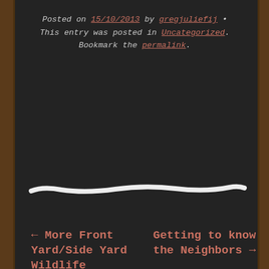Posted on 15/10/2013 by gregjuliefij • This entry was posted in Uncategorized. Bookmark the permalink.
[Figure (illustration): A hand-drawn white chalk line divider on dark chalkboard background]
← More Front Yard/Side Yard Wildlife
Getting to know the Neighbors →
Privacy & Cookies: This site uses cookies. By continuing to use this website, you agree to their use. To find out more, including how to control cookies, see here: Our Cookie Policy